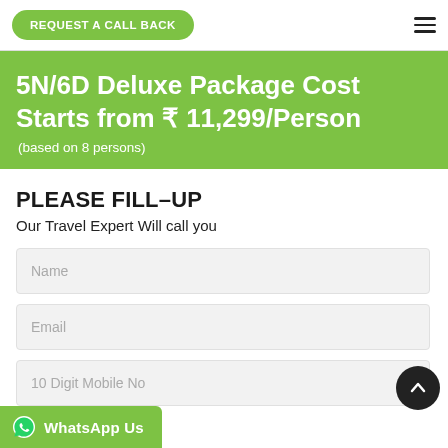REQUEST A CALL BACK
5N/6D Deluxe Package Cost Starts from ₹ 11,299/Person
(based on 8 persons)
PLEASE FILL-UP
Our Travel Expert Will call you
Name
Email
10 Digit Mobile No
WhatsApp Us